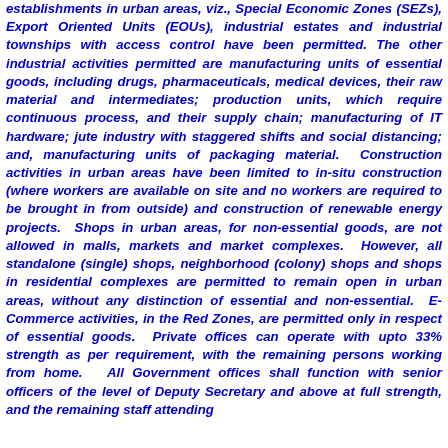establishments in urban areas, viz., Special Economic Zones (SEZs), Export Oriented Units (EOUs), industrial estates and industrial townships with access control have been permitted. The other industrial activities permitted are manufacturing units of essential goods, including drugs, pharmaceuticals, medical devices, their raw material and intermediates; production units, which require continuous process, and their supply chain; manufacturing of IT hardware; jute industry with staggered shifts and social distancing; and, manufacturing units of packaging material. Construction activities in urban areas have been limited to in-situ construction (where workers are available on site and no workers are required to be brought in from outside) and construction of renewable energy projects. Shops in urban areas, for non-essential goods, are not allowed in malls, markets and market complexes. However, all standalone (single) shops, neighborhood (colony) shops and shops in residential complexes are permitted to remain open in urban areas, without any distinction of essential and non-essential. E-Commerce activities, in the Red Zones, are permitted only in respect of essential goods. Private offices can operate with upto 33% strength as per requirement, with the remaining persons working from home. All Government offices shall function with senior officers of the level of Deputy Secretary and above at full strength, and the remaining staff attending